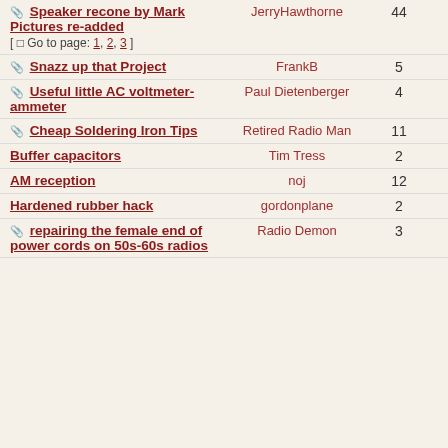| Topic | Author | Replies | Views |
| --- | --- | --- | --- |
| Speaker recone by Mark Pictures re-added [Go to page: 1, 2, 3] | JerryHawthorne | 44 | 33943 |
| Snazz up that Project | FrankB | 5 | 930 |
| Useful little AC voltmeter-ammeter | Paul Dietenberger | 4 | 1122 |
| Cheap Soldering Iron Tips | Retired Radio Man | 11 | 1610 |
| Buffer capacitors | Tim Tress | 2 | 616 |
| AM reception | noj | 12 | 1738 |
| Hardened rubber hack | gordonplane | 2 | 812 |
| repairing the female end of power cords on 50s-60s radios | Radio Demon | 3 | 1013 |